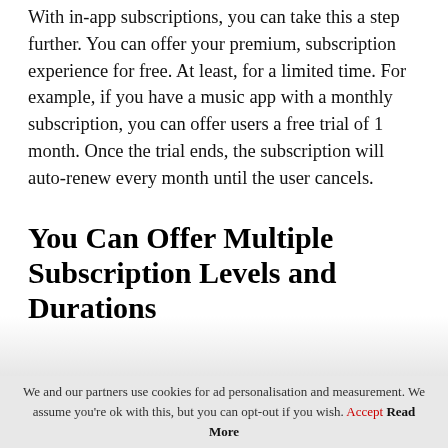With in-app subscriptions, you can take this a step further. You can offer your premium, subscription experience for free. At least, for a limited time. For example, if you have a music app with a monthly subscription, you can offer users a free trial of 1 month. Once the trial ends, the subscription will auto-renew every month until the user cancels.
You Can Offer Multiple Subscription Levels and Durations
We and our partners use cookies for ad personalisation and measurement. We assume you're ok with this, but you can opt-out if you wish. Accept Read More